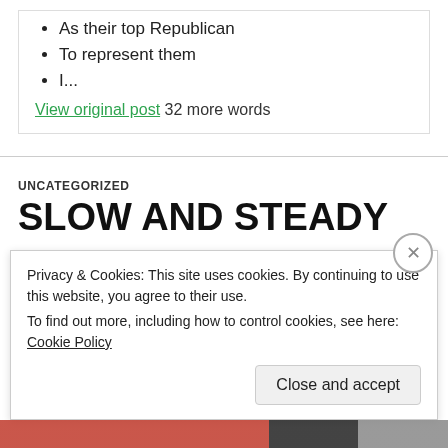As their top Republican
To represent them
I...
View original post 32 more words
UNCATEGORIZED
SLOW AND STEADY
Privacy & Cookies: This site uses cookies. By continuing to use this website, you agree to their use. To find out more, including how to control cookies, see here: Cookie Policy
Close and accept